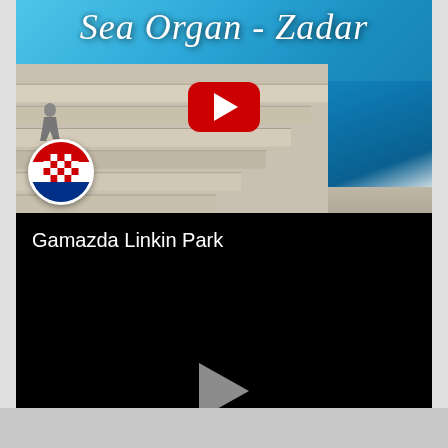[Figure (screenshot): YouTube thumbnail for 'Sea Organ - Zadar' video. Shows coastal steps leading to the Adriatic Sea in Zadar, Croatia, with a Croatia flag circle badge in lower left and a YouTube red play button in the center. Title text in italic white: 'Sea Organ - Zadar'.]
[Figure (screenshot): Black video player embed showing title 'Gamazda Linkin Park' and a gray play button triangle in the center on a black background.]